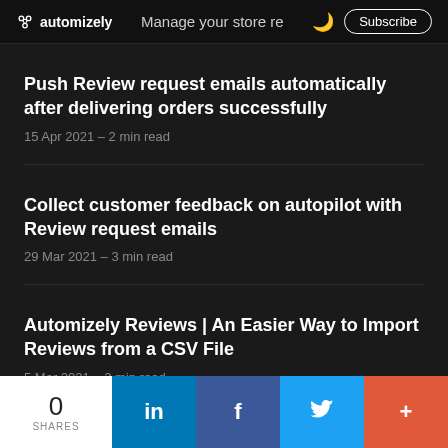automizely | Manage your store re [moon icon] Subscribe
Push Review request emails automatically after delivering orders successfully
15 Apr 2021 – 2 min read
Collect customer feedback on autopilot with Review request emails
29 Mar 2021 – 3 min read
Automizely Reviews | An Easier Way to Import Reviews from a CSV File
5 Mar 2021 – 2 min read
0 SHARES | LinkedIn | Facebook | Twitter | +